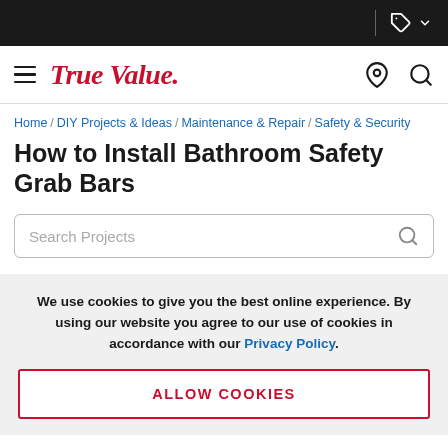True Value navigation header with hamburger menu, logo, location and search icons
Home / DIY Projects & Ideas / Maintenance & Repair / Safety & Security
How to Install Bathroom Safety Grab Bars
Search Projects
We use cookies to give you the best online experience. By using our website you agree to our use of cookies in accordance with our Privacy Policy.
ALLOW COOKIES